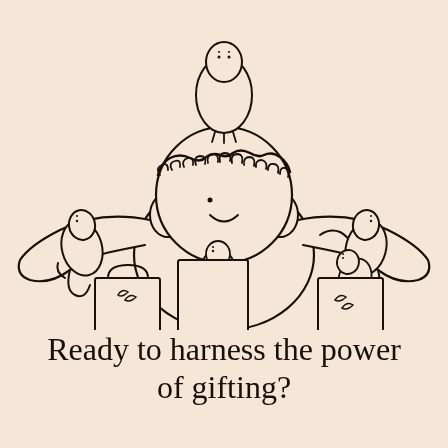[Figure (illustration): Line drawing illustration of a person with curly hair and a bird on their head, arms outstretched with birds perched on them, surrounded by shopping bags and gift boxes. Drawn in a whimsical doodle style on a warm peach/blush background.]
Ready to harness the power of gifting?